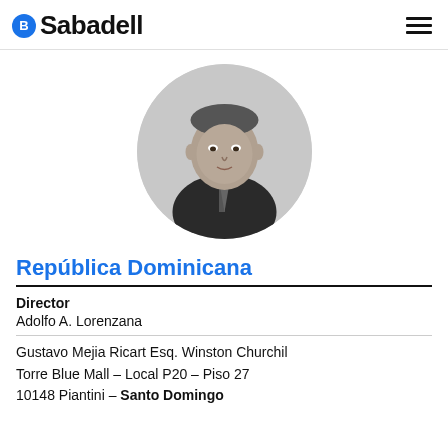B Sabadell
[Figure (photo): Black and white headshot photo of a man in a suit and tie, circular crop]
República Dominicana
Director
Adolfo A. Lorenzana
Gustavo Mejia Ricart Esq. Winston Churchil
Torre Blue Mall – Local P20 – Piso 27
10148 Piantini – Santo Domingo